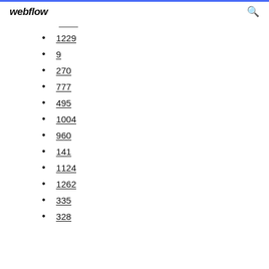webflow
1229
9
270
777
495
1004
960
141
1124
1262
335
328